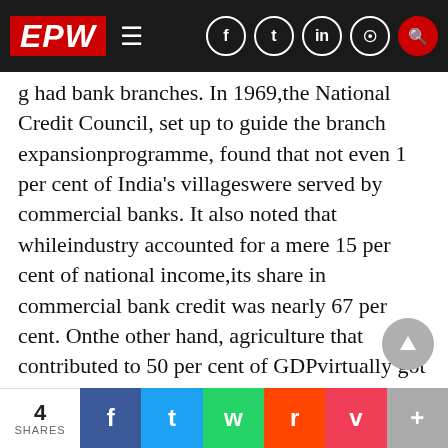EPW
had bank branches. In 1969,the National Credit Council, set up to guide the branch expansionprogramme, found that not even 1 per cent of India's villageswere served by commercial banks. It also noted that whileindustry accounted for a mere 15 per cent of national income,its share in commercial bank credit was nearly 67 per cent. Onthe other hand, agriculture that contributed to 50 per cent of GDPvirtually got nothing from banks.Nationalisation was aimed at redressing these inequities. Theidea was to reduce the average population served by a bankbranch and reduce disparities in this across states. Accord
4 SHARES  f  tw  wa  rd  pk  +